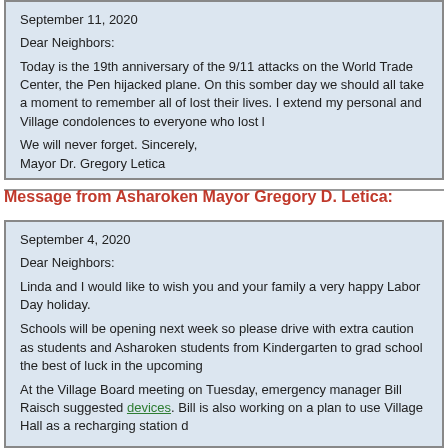September 11, 2020

Dear Neighbors:

Today is the 19th anniversary of the 9/11 attacks on the World Trade Center, the Pen hijacked plane. On this somber day we should all take a moment to remember all of lost their lives. I extend my personal and Village condolences to everyone who lost l

We will never forget. Sincerely,

Mayor Dr. Gregory Letica
Message from Asharoken Mayor Gregory D. Letica:
September 4, 2020

Dear Neighbors:

Linda and I would like to wish you and your family a very happy Labor Day holiday

Schools will be opening next week so please drive with extra caution as students and Asharoken students from Kindergarten to grad school the best of luck in the upcoming

At the Village Board meeting on Tuesday, emergency manager Bill Raisch suggested devices. Bill is also working on a plan to use Village Hall as a recharging station d